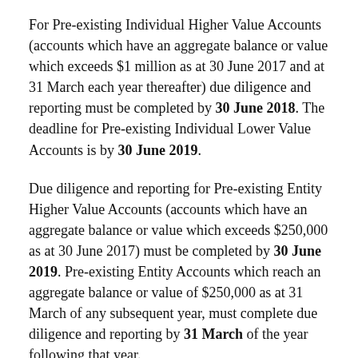For Pre-existing Individual Higher Value Accounts (accounts which have an aggregate balance or value which exceeds $1 million as at 30 June 2017 and at 31 March each year thereafter) due diligence and reporting must be completed by 30 June 2018. The deadline for Pre-existing Individual Lower Value Accounts is by 30 June 2019.
Due diligence and reporting for Pre-existing Entity Higher Value Accounts (accounts which have an aggregate balance or value which exceeds $250,000 as at 30 June 2017) must be completed by 30 June 2019. Pre-existing Entity Accounts which reach an aggregate balance or value of $250,000 as at 31 March of any subsequent year, must complete due diligence and reporting by 31 March of the year following that year.
No due diligence or reporting is required for pre-existing Entity accounts with an aggregate balance or value of less than $250,000 (there are specific rules...